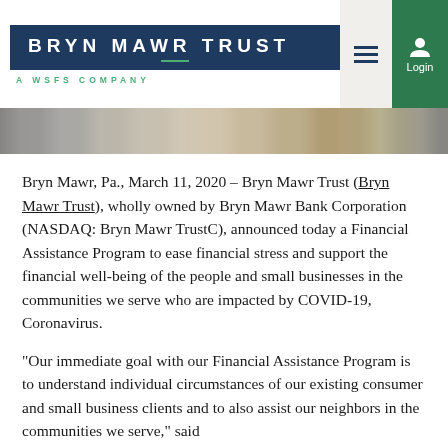BRYN MAWR TRUST — A WSFS COMPANY
[Figure (photo): Partial view of a building facade with stone columns and a brass door, cropped across the top.]
Bryn Mawr, Pa., March 11, 2020 – Bryn Mawr Trust (Bryn Mawr Trust), wholly owned by Bryn Mawr Bank Corporation (NASDAQ: Bryn Mawr TrustC), announced today a Financial Assistance Program to ease financial stress and support the financial well-being of the people and small businesses in the communities we serve who are impacted by COVID-19, Coronavirus.
“Our immediate goal with our Financial Assistance Program is to understand individual circumstances of our existing consumer and small business clients and to also assist our neighbors in the communities we serve,” said President, President and Chief Executive Officer,